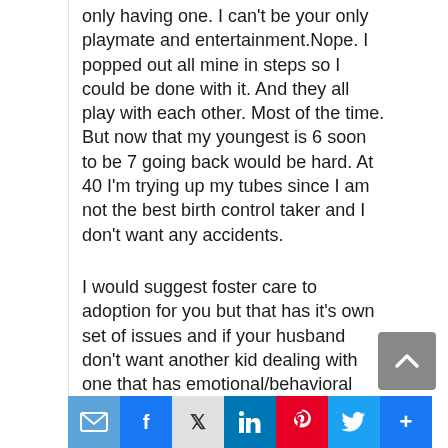only having one. I can't be your only playmate and entertainment.Nope. I popped out all mine in steps so I could be done with it. And they all play with each other. Most of the time. But now that my youngest is 6 soon to be 7 going back would be hard. At 40 I'm trying up my tubes since I am not the best birth control taker and I don't want any accidents.
I would suggest foster care to adoption for you but that has it's own set of issues and if your husband don't want another kid dealing with one that has emotional/behavioral problems is probably not an option either.